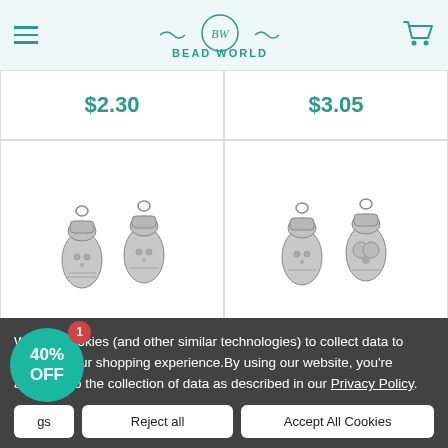Bead World
$2.30
$3.05
[Figure (photo): Two small silver gnome/snowman charm pendants, antique silver finish, front and back views]
[Figure (photo): Two small silver gnome/snowman charm pendants, antique silver finish, slightly different angle views]
We use cookies (and other similar technologies) to collect data to improve your shopping experience.By using our website, you're agreeing to the collection of data as described in our Privacy Policy.
40% OFF
Reject all
Accept All Cookies